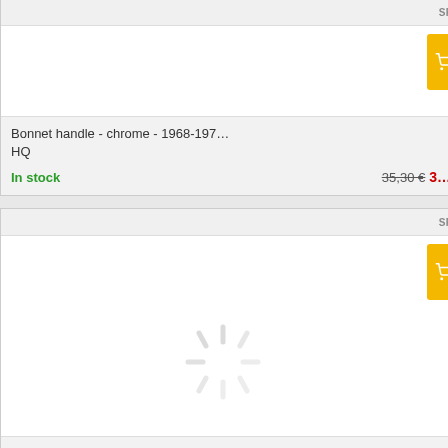[Figure (screenshot): E-commerce product listing page showing automotive parts. Left side is grey background. Right side shows product cards. Card 1 (partially visible at top): 'Bonnet handle - chrome - 1968-197... HQ', In stock, price 35,30 € with red discounted price starting with 3... Card 2: 'Soft top mecanism covers white 19... 1967', On order, price 115,00 € with orange discounted price starting with 11... with a loading spinner overlay. Card 3: partially visible at bottom with yellow cart button. Each card has a yellow cart button on the right and SP label.]